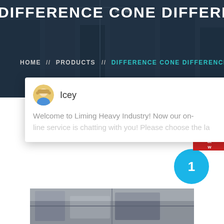DIFFERENCE CONE DIFFERENCE
HOME // PRODUCTS // DIFFERENCE CONE DIFFERENCE
[Figure (screenshot): Chat widget popup from Liming Heavy Industry with agent named Icey and message: Welcome to Liming Heavy Industry! Now our on-line service is chatting with you! Please choose the la...]
Latest Projects
[Figure (photo): Industrial machinery / heavy equipment photo showing construction or mining equipment indoors]